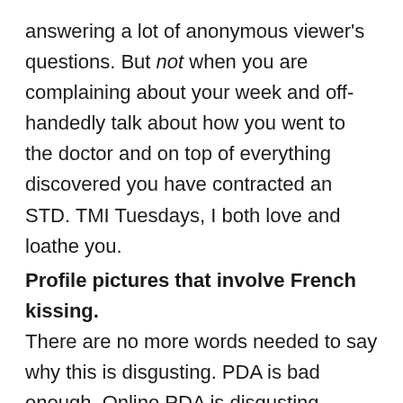answering a lot of anonymous viewer's questions. But not when you are complaining about your week and off-handedly talk about how you went to the doctor and on top of everything discovered you have contracted an STD. TMI Tuesdays, I both love and loathe you.
Profile pictures that involve French kissing.
There are no more words needed to say why this is disgusting. PDA is bad enough. Online PDA is disgusting.
We know your boyfriend/girlfriend's pet name simply from your social media. If you call your partner your “widdle snuffaluffagus” we aren’t